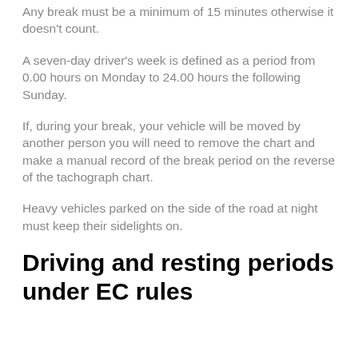Any break must be a minimum of 15 minutes otherwise it doesn't count.
A seven-day driver's week is defined as a period from 0.00 hours on Monday to 24.00 hours the following Sunday.
If, during your break, your vehicle will be moved by another person you will need to remove the chart and make a manual record of the break period on the reverse of the tachograph chart.
Heavy vehicles parked on the side of the road at night must keep their sidelights on.
Driving and resting periods under EC rules